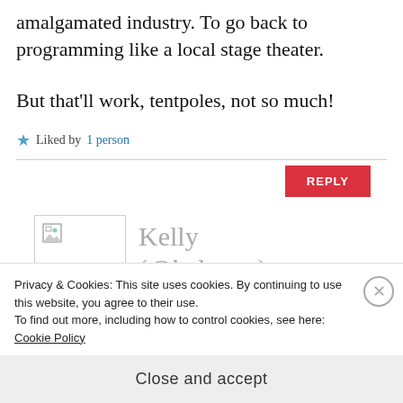amalgamated industry. To go back to programming like a local stage theater.
But that'll work, tentpoles, not so much!
★ Liked by 1 person
REPLY
[Figure (photo): Avatar image placeholder for commenter Kelly (@kelexyn)]
Kelly (@kelexyn)
Privacy & Cookies: This site uses cookies. By continuing to use this website, you agree to their use.
To find out more, including how to control cookies, see here: Cookie Policy
Close and accept